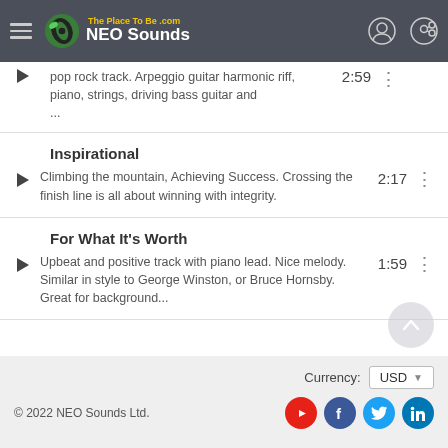NEO Sounds - The Place To Be .com
pop rock track. Arpeggio guitar harmonic riff, piano, strings, driving bass guitar and ...
Inspirational
Climbing the mountain, Achieving Success. Crossing the finish line is all about winning with integrity.
For What It's Worth
Upbeat and positive track with piano lead. Nice melody. Similar in style to George Winston, or Bruce Hornsby. Great for background...
© 2022 NEO Sounds Ltd.